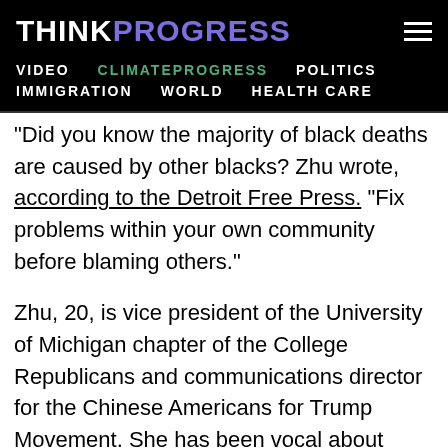THINKPROGRESS
VIDEO   CLIMATEPROGRESS   POLITICS   IMMIGRATION   WORLD   HEALTH CARE
"Did you know the majority of black deaths are caused by other blacks? Zhu wrote, according to the Detroit Free Press. "Fix problems within your own community before blaming others."
Zhu, 20, is vice president of the University of Michigan chapter of the College Republicans and communications director for the Chinese Americans for Trump Movement. She has been vocal about conservative politics on her Twitter account,